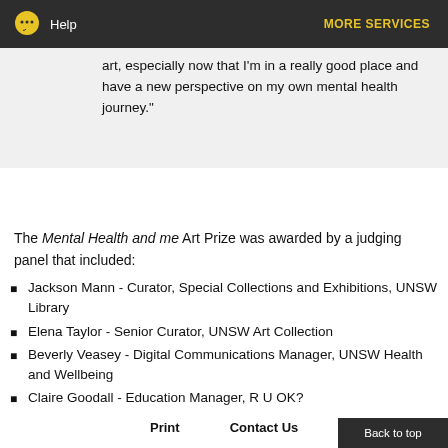Help  MORE SERVICES
art, especially now that I'm in a really good place and have a new perspective on my own mental health journey."
The Mental Health and me Art Prize was awarded by a judging panel that included:
Jackson Mann - Curator, Special Collections and Exhibitions, UNSW Library
Elena Taylor - Senior Curator, UNSW Art Collection
Beverly Veasey - Digital Communications Manager, UNSW Health and Wellbeing
Claire Goodall - Education Manager, R U OK?
Karan Shekhawat - Arc Disabilities Officer
Print   Contact Us   Back to top